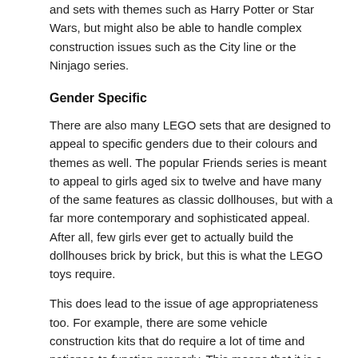and sets with themes such as Harry Potter or Star Wars, but might also be able to handle complex construction issues such as the City line or the Ninjago series.
Gender Specific
There are also many LEGO sets that are designed to appeal to specific genders due to their colours and themes as well. The popular Friends series is meant to appeal to girls aged six to twelve and have many of the same features as classic dollhouses, but with a far more contemporary and sophisticated appeal. After all, few girls ever get to actually build the dollhouses brick by brick, but this is what the LEGO toys require.
This does lead to the issue of age appropriateness too. For example, there are some vehicle construction kits that do require a lot of time and patience to function properly. This means that it is a good idea to "start small" and acquire a few smaller sets or projects before investing in the larger and more advanced sets.
Collecting and Playing
There is also the issue of collecting LEGO sets versus playing with them. If a child is going to build a large collection of LEGO sets, they would need to find a way to store them...